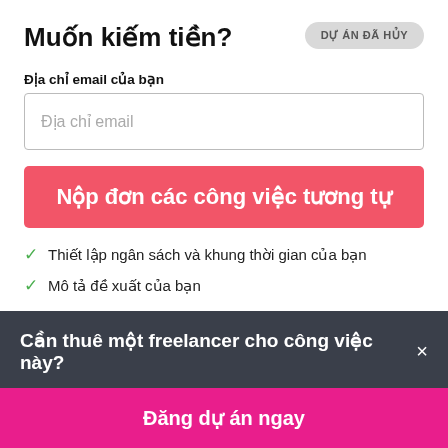Muốn kiếm tiền?
DỰ ÁN ĐÃ HỦY
Địa chỉ email của bạn
Địa chỉ email
Nộp đơn các công việc tương tự
Thiết lập ngân sách và khung thời gian của bạn
Mô tả đề xuất của bạn
Cần thuê một freelancer cho công việc này?
Đăng dự án ngay